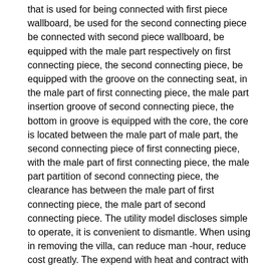that is used for being connected with first piece wallboard, be used for the second connecting piece be connected with second piece wallboard, be equipped with the male part respectively on first connecting piece, the second connecting piece, be equipped with the groove on the connecting seat, in the male part of first connecting piece, the male part insertion groove of second connecting piece, the bottom in groove is equipped with the core, the core is located between the male part of male part, the second connecting piece of first connecting piece, with the male part of first connecting piece, the male part partition of second connecting piece, the clearance has between the male part of first connecting piece, the male part of second connecting piece. The utility model discloses simple to operate, it is convenient to dismantle. When using in removing the villa, can reduce man -hour, reduce cost greatly. The expend with heat and contract with cold of wallboard, or flexible when making moist, thus can promote the deformation of connecting piece receives the adjustment in the clearance, do benefit to to make the wall joining of plates more stable. The utility model has the advantages of simple structure.